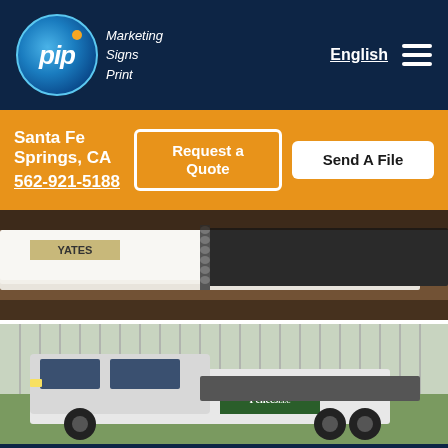[Figure (logo): PIP Marketing Signs Print logo — blue circle with white italic 'pip' text and orange dot, on dark navy background]
Marketing
Signs
Print
English
Santa Fe Springs, CA
562-921-5188
Request a Quote
Send A File
[Figure (photo): Close-up photo of spiral-bound notebooks on a wooden desk surface, with a YATES branded item visible]
[Figure (photo): Photo of a white flatbed work truck with green and white vehicle wrap for 'Acreage Fences' company, parked in front of a corrugated metal building]